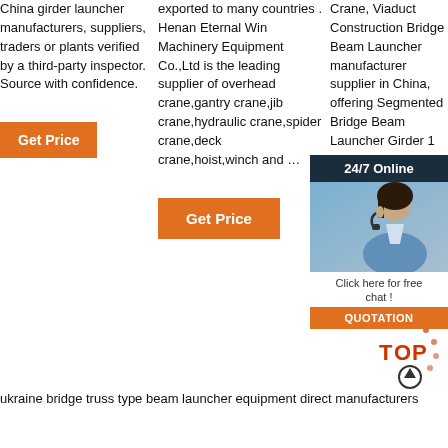China girder launcher manufacturers, suppliers, traders or plants verified by a third-party inspector. Source with confidence.
Get Price
exported to many countries . Henan Eternal Win Machinery Equipment Co.,Ltd is the leading supplier of overhead crane,gantry crane,jib crane,hydraulic crane,spider crane,deck crane,hoist,winch and …
Get Price
Crane, Viaduct Construction Bridge Beam Launcher manufacturer supplier in China, offering Segmented Bridge Beam Launcher Girder 1 Launcher Anchor Mooring Chain B 20ton S Double Overhead Bridge Crane and so on.
[Figure (photo): Customer service representative with headset, 24/7 Online chat widget overlay with QUOTATION button]
Get Price
ukraine bridge truss type beam launcher equipment direct manufacturers